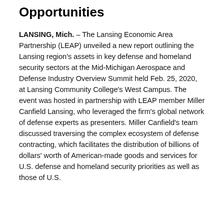Opportunities
LANSING, Mich. – The Lansing Economic Area Partnership (LEAP) unveiled a new report outlining the Lansing region's assets in key defense and homeland security sectors at the Mid-Michigan Aerospace and Defense Industry Overview Summit held Feb. 25, 2020, at Lansing Community College's West Campus. The event was hosted in partnership with LEAP member Miller Canfield Lansing, who leveraged the firm's global network of defense experts as presenters. Miller Canfield's team discussed traversing the complex ecosystem of defense contracting, which facilitates the distribution of billions of dollars' worth of American-made goods and services for U.S. defense and homeland security priorities as well as those of U.S.